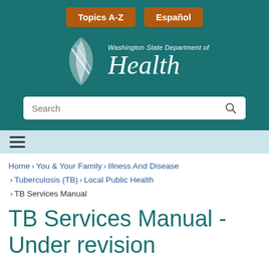[Figure (logo): Washington State Department of Health logo with leaf/feather graphic and italic Health text in white on teal background, with Topics A-Z and Español buttons and a search bar]
≡
Home > You & Your Family > Illness And Disease > Tuberculosis (TB) > Local Public Health > TB Services Manual
TB Services Manual - Under revision